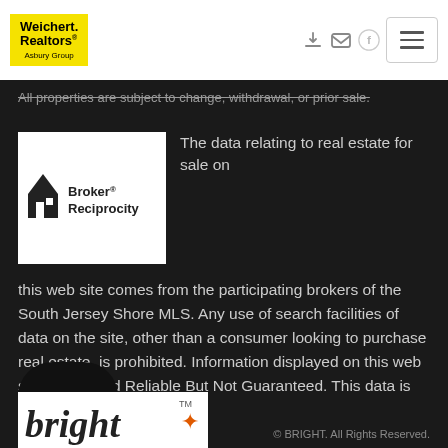[Figure (logo): Weichert Realtors Asbury Group logo on yellow background]
All properties are subject to change, withdrawal, or prior sale.
[Figure (logo): Broker Reciprocity logo]
The data relating to real estate for sale on this web site comes from the participating brokers of the South Jersey Shore MLS. Any use of search facilities of data on the site, other than a consumer looking to purchase real estate, is prohibited. Information displayed on this web site is Deemed Reliable But Not Guaranteed. This data is updated daily.
[Figure (screenshot): Chat bubble icon with three dots]
[Figure (logo): Bright MLS logo]
© BRIGHT. All Rights Reserved.